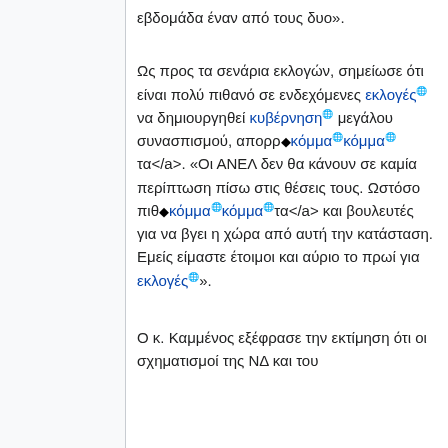εβδομάδα έναν από τους δυο».
Ως προς τα σενάρια εκλογών, σημείωσε ότι είναι πολύ πιθανό σε ενδεχόμενες εκλογές να δημιουργηθεί κυβέρνηση μεγάλου συνασπισμού, απορρ◆κόμμα◆κόμμα◆τα</a>. «Οι ΑΝΕΛ δεν θα κάνουν σε καμία περίπτωση πίσω στις θέσεις τους. Ωστόσο πιθ◆κόμμα◆κόμμα◆τα</a> και βουλευτές  για να βγει η χώρα από αυτή την κατάσταση. Εμείς είμαστε έτοιμοι και αύριο το πρωί για εκλογές».
Ο κ. Καμμένος εξέφρασε την εκτίμηση ότι οι σχηματισμοί της ΝΔ και του